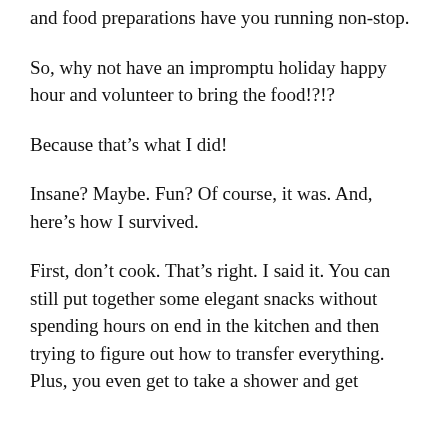and food preparations have you running non-stop.
So, why not have an impromptu holiday happy hour and volunteer to bring the food!?!?
Because that's what I did!
Insane? Maybe. Fun? Of course, it was. And, here's how I survived.
First, don't cook. That's right. I said it. You can still put together some elegant snacks without spending hours on end in the kitchen and then trying to figure out how to transfer everything. Plus, you even get to take a shower and get